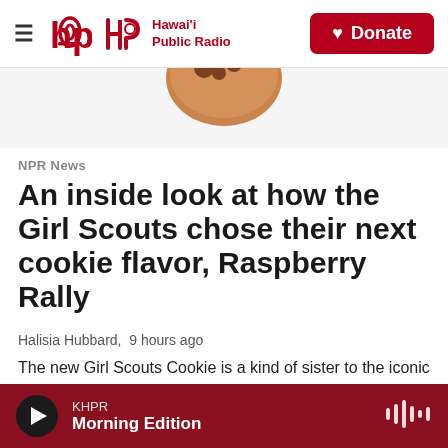Hawai'i Public Radio — Donate
[Figure (photo): Partial view of a cookie or baked good, cropped at top of article area]
NPR News
An inside look at how the Girl Scouts chose their next cookie flavor, Raspberry Rally
Halisia Hubbard,  9 hours ago
The new Girl Scouts Cookie is a kind of sister to the iconic Thin Mint, and the second fruit flavor to hit the lineup of cookies.
KHPR Morning Edition